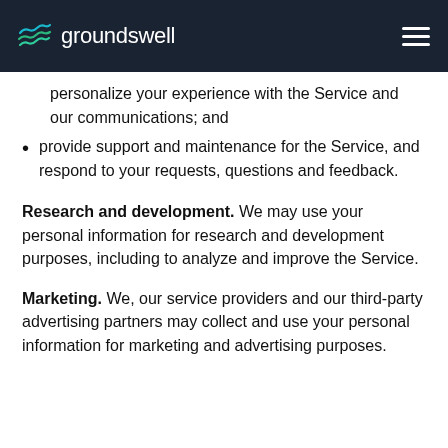groundswell
personalize your experience with the Service and our communications; and
provide support and maintenance for the Service, and respond to your requests, questions and feedback.
Research and development. We may use your personal information for research and development purposes, including to analyze and improve the Service.
Marketing. We, our service providers and our third-party advertising partners may collect and use your personal information for marketing and advertising purposes.